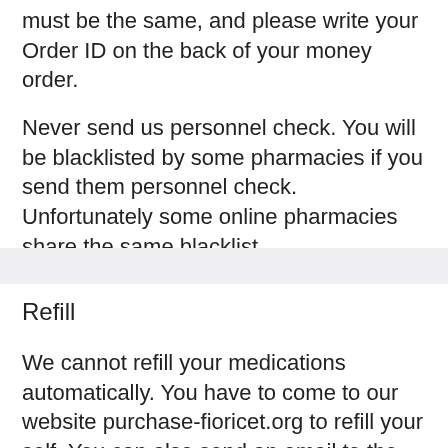must be the same, and please write your Order ID on the back of your money order.
Never send us personnel check. You will be blacklisted by some pharmacies if you send them personnel check. Unfortunately some online pharmacies share the same blacklist.
Refill
We cannot refill your medications automatically. You have to come to our website purchase-fioricet.org to refill your self. You can also send an email to the email that sent you order ID and tracking ID for